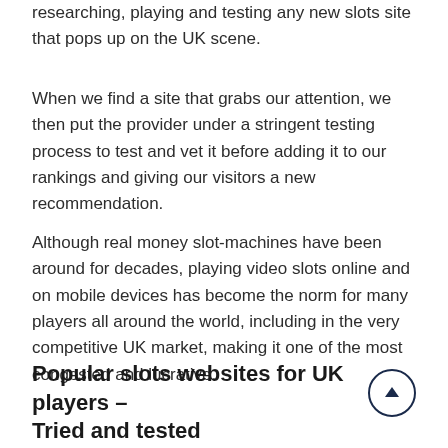As slots rank ourselves, we are constantly online researching, playing and testing any new slots site that pops up on the UK scene.
When we find a site that grabs our attention, we then put the provider under a stringent testing process to test and vet it before adding it to our rankings and giving our visitors a new recommendation.
Although real money slot-machines have been around for decades, playing video slots online and on mobile devices has become the norm for many players all around the world, including in the very competitive UK market, making it one of the most congested and lucrative.
Popular slots websites for UK players – Tried and tested